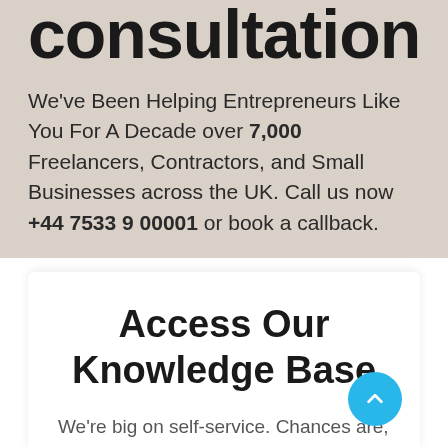consultation
We've Been Helping Entrepreneurs Like You For A Decade over 7,000 Freelancers, Contractors, and Small Businesses across the UK. Call us now +44 7533 9 00001 or book a callback.
Access Our Knowledge Base
We're big on self-service. Chances are, we've seen your question before.